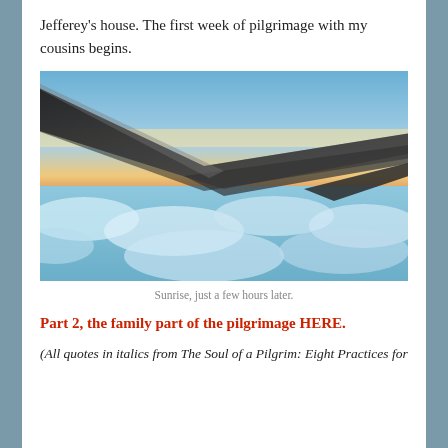Jefferey's house. The first week of pilgrimage with my cousins begins.
[Figure (photo): View from airplane window showing aircraft wing over clouds at sunrise, with blue sky and orange horizon glow.]
Sunrise, just a few hours later.
Part 2, the family part of the pilgrimage HERE.
(All quotes in italics from The Soul of a Pilgrim: Eight Practices for